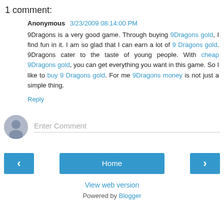1 comment:
Anonymous 3/23/2009 08:14:00 PM
9Dragons is a very good game. Through buying 9Dragons gold, I find fun in it. I am so glad that I can earn a lot of 9 Dragons gold. 9Dragons cater to the taste of young people. With cheap 9Dragons gold, you can get everything you want in this game. So I like to buy 9 Dragons gold. For me 9Dragons money is not just a simple thing.
Reply
[Figure (illustration): Anonymous user avatar — grey silhouette circle icon]
Enter Comment
Home
View web version
Powered by Blogger